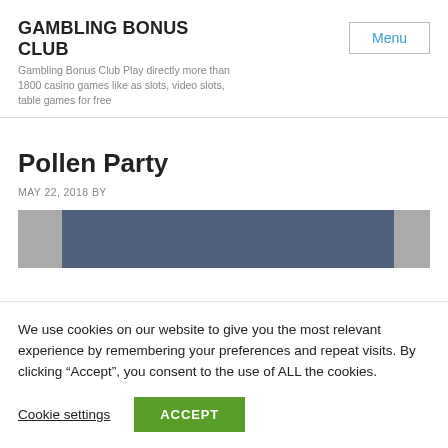GAMBLING BONUS CLUB
Gambling Bonus Club Play directly more than 1800 casino games like as slots, video slots, table games for free
Pollen Party
MAY 22, 2018 BY
[Figure (photo): Banner image with dark blue/slate center panel flanked by grey arrow panels on left and right]
We use cookies on our website to give you the most relevant experience by remembering your preferences and repeat visits. By clicking “Accept”, you consent to the use of ALL the cookies.
Cookie settings
ACCEPT